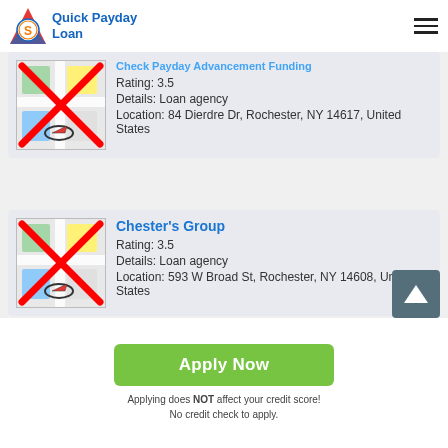Quick Payday Loan
Rating: 3.5
Details: Loan agency
Location: 84 Dierdre Dr, Rochester, NY 14617, United States
Chester's Group
Rating: 3.5
Details: Loan agency
Location: 593 W Broad St, Rochester, NY 14608, United States
Apply Now
Applying does NOT affect your credit score!
No credit check to apply.